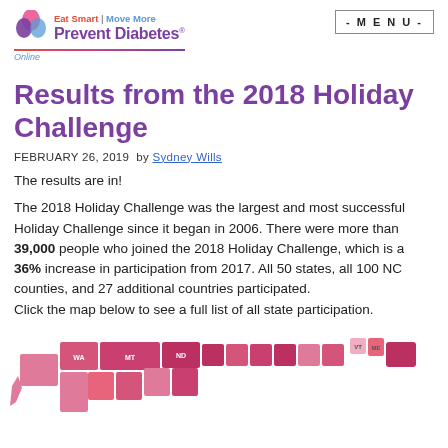Eat Smart | Move More Prevent Diabetes Online — MENU
Results from the 2018 Holiday Challenge
FEBRUARY 26, 2019 by Sydney Wills
The results are in!
The 2018 Holiday Challenge was the largest and most successful Holiday Challenge since it began in 2006. There were more than 39,000 people who joined the 2018 Holiday Challenge, which is a 36% increase in participation from 2017. All 50 states, all 100 NC counties, and 27 additional countries participated. Click the map below to see a full list of all state participation.
[Figure (map): US state map showing participation levels in the 2018 Holiday Challenge, colored in shades of pink/red. States visible include WA, MT, ND, VT, ME and others.]